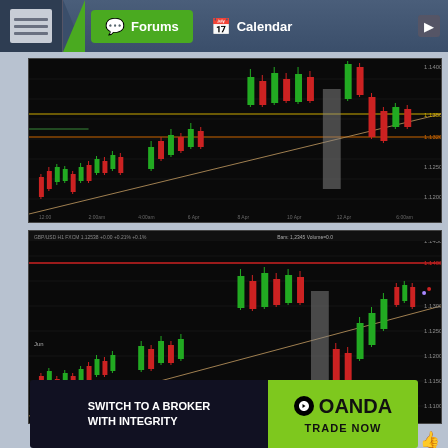Forums  Calendar
[Figure (screenshot): Candlestick forex/trading chart (top) with green and red candles on black background, showing upward trend with trendline and horizontal levels]
[Figure (screenshot): Candlestick forex/trading chart (bottom) with green and red candles on black background, showing similar pattern with a red horizontal line and trendline]
Jul 8, 2020 4:52pm   #1,097
1  ←  Page 55  →  110
[Figure (other): OANDA advertisement banner: SWITCH TO A BROKER WITH INTEGRITY | OANDA TRADE NOW]